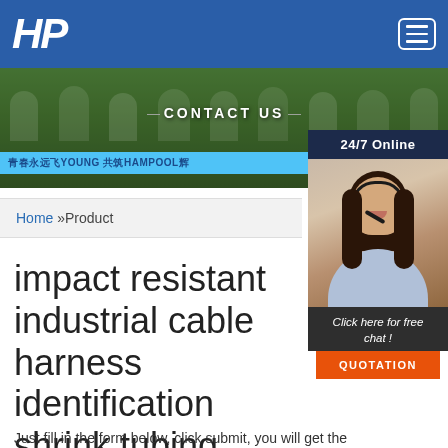HP logo and navigation menu
[Figure (photo): Banner photo showing a group of people outdoors holding a banner with Chinese text '青春永远飞YOUNG 共筑HAMPOOL辉', with overlay text '— CONTACT US —']
[Figure (photo): 24/7 Online customer service representative photo with headset, with 'Click here for free chat!' and 'QUOTATION' button]
Home »Product
impact resistant industrial cable harness identification shrink tubing
Just fill in the form below, click submit, you will get the